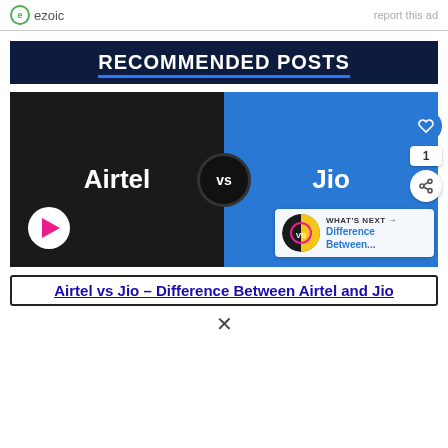ezoic  report this ad
RECOMMENDED POSTS
[Figure (illustration): Airtel vs Jio comparison graphic: left half dark background with 'Airtel' text and play button, right half blue background with 'Jio' text, VS circle in center, heart/share buttons on right side, What's Next panel at bottom right]
Airtel vs Jio – Difference Between Airtel and Jio